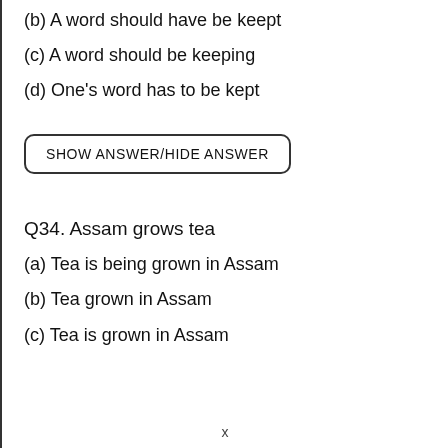(b) A word should have be keept
(c) A word should be keeping
(d) One's word has to be kept
SHOW ANSWER/HIDE ANSWER
Q34. Assam grows tea
(a) Tea is being grown in Assam
(b) Tea grown in Assam
(c) Tea is grown in Assam
x